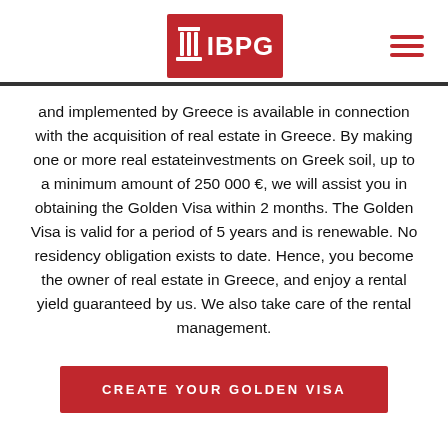[Figure (logo): IBPG logo — red rectangle with white column icon and IBPG text in white]
and implemented by Greece is available in connection with the acquisition of real estate in Greece. By making one or more real estateinvestments on Greek soil, up to a minimum amount of 250 000 €, we will assist you in obtaining the Golden Visa within 2 months. The Golden Visa is valid for a period of 5 years and is renewable. No residency obligation exists to date. Hence, you become the owner of real estate in Greece, and enjoy a rental yield guaranteed by us. We also take care of the rental management.
CREATE YOUR GOLDEN VISA